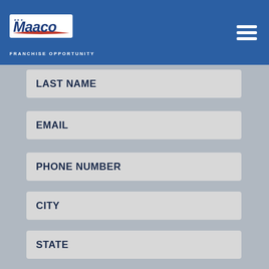[Figure (logo): Maaco Franchise Opportunity logo with blue background, white italic text 'Maaco', red swoosh, and 'FRANCHISE OPPORTUNITY' text below]
LAST NAME
EMAIL
PHONE NUMBER
CITY
STATE
ZIP CODE
NET WORTH